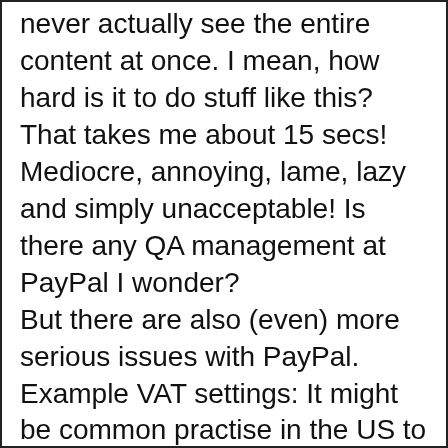never actually see the entire content at once. I mean, how hard is it to do stuff like this? That takes me about 15 secs! Mediocre, annoying, lame, lazy and simply unacceptable! Is there any QA management at PayPal I wonder?
But there are also (even) more serious issues with PayPal. Example VAT settings: It might be common practise in the US to present prices excluding VAT on web-sites and add VAT at the check-out - I honestly don't know. I DO know however that this is NOT common practise in Europe or e.g. Australia. I have changed approx. 8 systems to display different prices on their site than what they post to PayPal to counter balance this. A simple tickbox "passed prices include VAT" in the PayPal interface would save thousands of users and developers a lot of hassle. And this